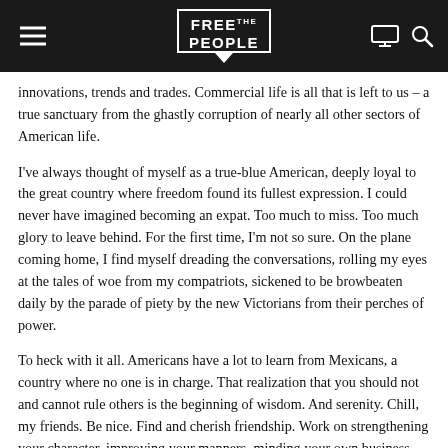FREE THE PEOPLE
innovations, trends and trades. Commercial life is all that is left to us – a true sanctuary from the ghastly corruption of nearly all other sectors of American life.
I've always thought of myself as a true-blue American, deeply loyal to the great country where freedom found its fullest expression. I could never have imagined becoming an expat. Too much to miss. Too much glory to leave behind. For the first time, I'm not so sure. On the plane coming home, I find myself dreading the conversations, rolling my eyes at the tales of woe from my compatriots, sickened to be browbeaten daily by the parade of piety by the new Victorians from their perches of power.
To heck with it all. Americans have a lot to learn from Mexicans, a country where no one is in charge. That realization that you should not and cannot rule others is the beginning of wisdom. And serenity. Chill, my friends. Be nice. Find and cherish friendship. Work on strengthening your character, improving your manners, minding your own business, and living well and letting others do